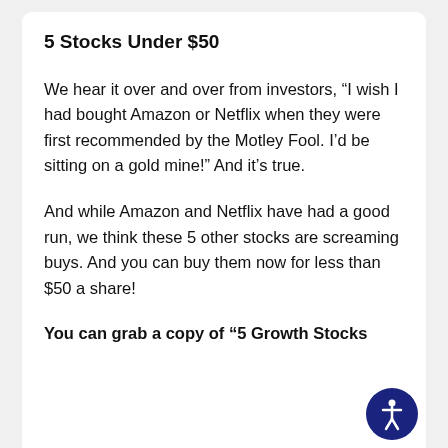5 Stocks Under $50
We hear it over and over from investors, “I wish I had bought Amazon or Netflix when they were first recommended by the Motley Fool. I’d be sitting on a gold mine!” And it’s true.
And while Amazon and Netflix have had a good run, we think these 5 other stocks are screaming buys. And you can buy them now for less than $50 a share!
You can grab a copy of “5 Growth Stocks Under $50” for FREE for limited time